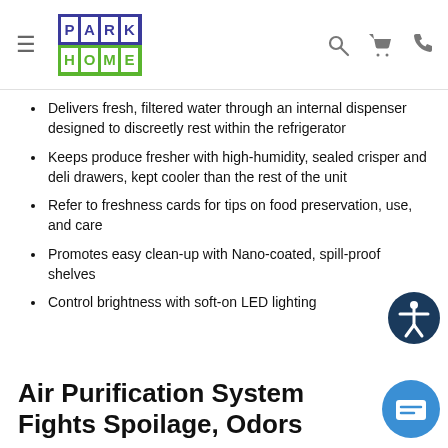PARK HOME logo with navigation icons
Delivers fresh, filtered water through an internal dispenser designed to discreetly rest within the refrigerator
Keeps produce fresher with high-humidity, sealed crisper and deli drawers, kept cooler than the rest of the unit
Refer to freshness cards for tips on food preservation, use, and care
Promotes easy clean-up with Nano-coated, spill-proof shelves
Control brightness with soft-on LED lighting
Air Purification System Fights Spoilage, Odors